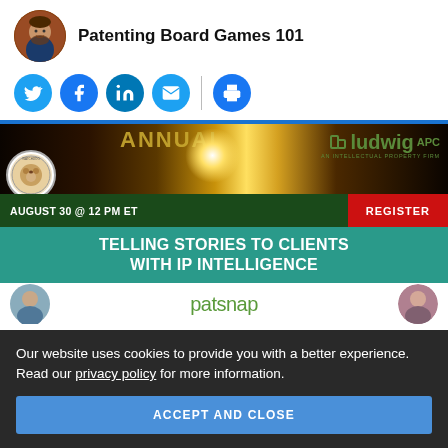Patenting Board Games 101
[Figure (infographic): Social media sharing icons row: Twitter, Facebook, LinkedIn, Email, Print]
[Figure (infographic): Banner ad: AUGUST 30 @ 12 PM ET REGISTER - Ludwig APC An Intellectual Property Firm, with Watchdog logo and light burst background]
[Figure (infographic): Green banner reading: TELLING STORIES TO CLIENTS WITH IP INTELLIGENCE - Patsnap logo with speaker avatars]
Our website uses cookies to provide you with a better experience. Read our privacy policy for more information.
ACCEPT AND CLOSE